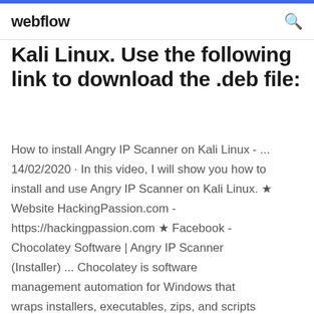webflow
Kali Linux. Use the following link to download the .deb file:
How to install Angry IP Scanner on Kali Linux - ... 14/02/2020 · In this video, I will show you how to install and use Angry IP Scanner on Kali Linux. ★ Website HackingPassion.com - https://hackingpassion.com ★ Facebook - Chocolatey Software | Angry IP Scanner (Installer) ... Chocolatey is software management automation for Windows that wraps installers, executables, zips, and scripts into compiled packages. Chocolatey integrates w/SCCM, Puppet, Chef, etc. Chocolatey is trusted by businesses to manage software